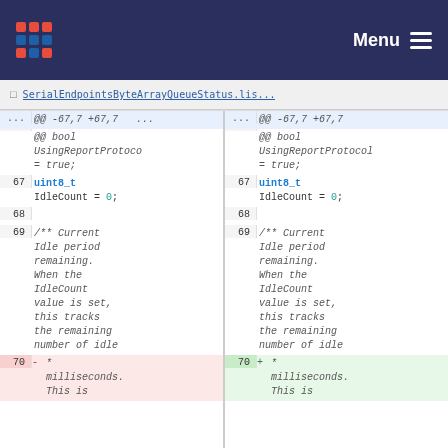Menu
File diff view showing changes to a source file
| line | diff | code | line | diff | code |
| --- | --- | --- | --- | --- | --- |
| ... | @@ -67,7 +67,7 ... |  | ... | @@ -67,7 +67,7 |  |
|  | @@ bool UsingReportProtocol = true; |  |  | @@ bool UsingReportProtocol = true; |  |
| 67 | uint8_t IdleCount = 0; |  | 67 | uint8_t IdleCount = 0; |  |
| 68 |  |  | 68 |  |  |
| 69 | /** Current Idle period remaining. When the IdleCount value is set, this tracks the remaining number of idle |  | 69 | /** Current Idle period remaining. When the IdleCount value is set, this tracks the remaining number of idle |  |
| 70 | - * milliseconds. This is |  | 70 | + * milliseconds. This is |  |